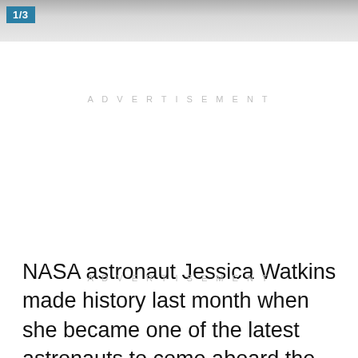[Figure (photo): Partial image of astronaut suits or space-related equipment, cropped at top of page, with a 1/3 counter badge overlay]
ADVERTISEMENT
NASA astronaut Jessica Watkins made history last month when she became one of the latest astronauts to come aboard the International Space Station.
ADVERTISEMENT